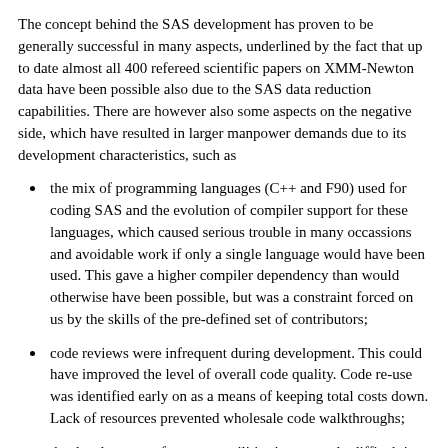The concept behind the SAS development has proven to be generally successful in many aspects, underlined by the fact that up to date almost all 400 refereed scientific papers on XMM-Newton data have been possible also due to the SAS data reduction capabilities. There are however also some aspects on the negative side, which have resulted in larger manpower demands due to its development characteristics, such as
the mix of programming languages (C++ and F90) used for coding SAS and the evolution of compiler support for these languages, which caused serious trouble in many occassions and avoidable work if only a single language would have been used. This gave a higher compiler dependency than would otherwise have been possible, but was a constraint forced on us by the skills of the pre-defined set of contributors;
code reviews were infrequent during development. This could have improved the level of overall code quality. Code re-use was identified early on as a means of keeping total costs down. Lack of resources prevented wholesale code walkthroughs;
the development of common utilities is extremely difficult in geographical distributed environments and can lead to code